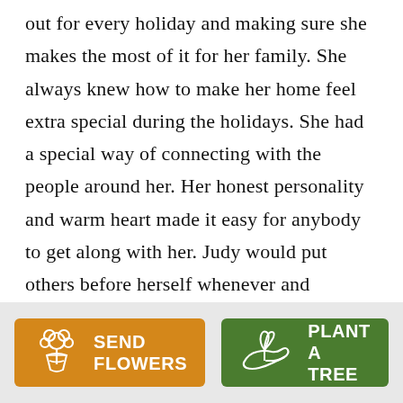out for every holiday and making sure she makes the most of it for her family. She always knew how to make her home feel extra special during the holidays. She had a special way of connecting with the people around her. Her honest personality and warm heart made it easy for anybody to get along with her. Judy would put others before herself whenever and however possible. An inspiration for her courage and selflessness. A home where you could always feel safe. She always had a way to cheer anybody up with her laughter and hugs. The warm hugs that are sure to be
[Figure (infographic): Two call-to-action buttons: 'SEND FLOWERS' with a flower bouquet icon on an orange background, and 'PLANT A TREE' with a seedling/hand icon on a green background.]